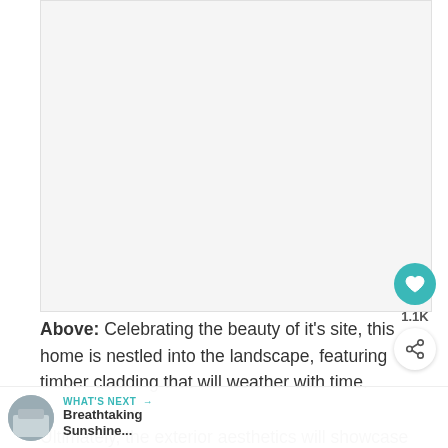[Figure (photo): Large blank/white image area showing a home nestled into a landscape with timber cladding]
Above: Celebrating the beauty of it's site, this home is nestled into the landscape, featuring timber cladding that will weather with time. Ultimately, the exterior aesthetics will showcase a
WHAT'S NEXT → Breathtaking Sunshine...